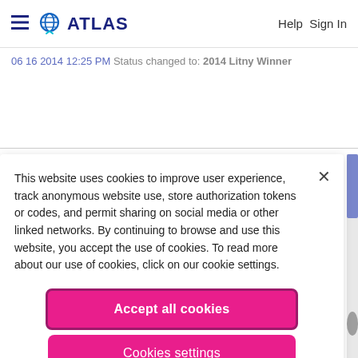ATLAS  Help Sign In
06 16 2014 12:25 PM Status changed to: 2014 Litny Winner
This website uses cookies to improve user experience, track anonymous website use, store authorization tokens or codes, and permit sharing on social media or other linked networks. By continuing to browse and use this website, you accept the use of cookies. To read more about our use of cookies, click on our cookie settings.
Accept all cookies
Cookies settings